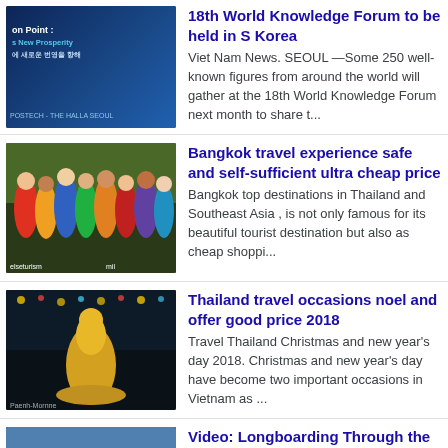18th World Knowledge Forum to be held in S Korea
Viet Nam News. SEOUL —Some 250 well-known figures from around the world will gather at the 18th World Knowledge Forum next month to share t...
Bangkok travel experience safe and self-sufficient ultra cheap price
Bangkok top destinations in Thailand and Southeast Asia , is not only famous for its beautiful tourist destination but also as cheap shoppi...
Thailand travel occasions noel and offer good price 2018
Travel Thailand Christmas and new year's day 2018. Christmas and new year's day have become two important occasions in Vietnam as ...
Video: Longboarding Through the Mountains of Norway
Skateboarding isn't a topic I touch upon very often here at The Adventure Blog, but when you come across a video this beautiful, it is h...
Video: Whitewater Stand-Up Paddleboarding
I hate to admit it, but I have yet to try stand-up paddleboarding. I know that it is one of the fastest growing outdoor sports around, and i...